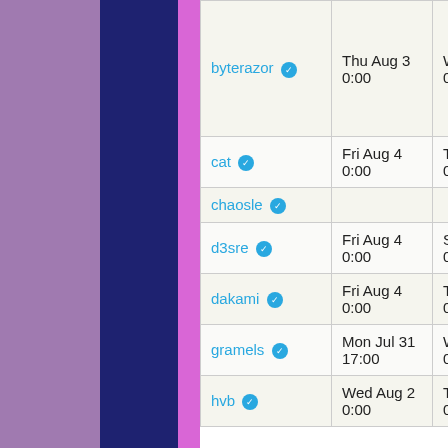| Username | Start Date | End Date | Notes |
| --- | --- | --- | --- |
| byterazor ✓ | Thu Aug 3 0:00 | Wed Aug 9 0:00 | ge FR ne ha po 10 Sv |
| cat ✓ | Fri Aug 4 0:00 | Tue Aug 8 0:00 |  |
| chaosle ✓ |  |  | W |
| d3sre ✓ | Fri Aug 4 0:00 | Sun Aug 6 0:00 |  |
| dakami ✓ | Fri Aug 4 0:00 | Tue Aug 8 0:00 |  |
| gramels ✓ | Mon Jul 31 17:00 | Wed Aug 9 0:00 |  |
| hvb ✓ | Wed Aug 2 0:00 | Tue Aug 8 0:00 | va |